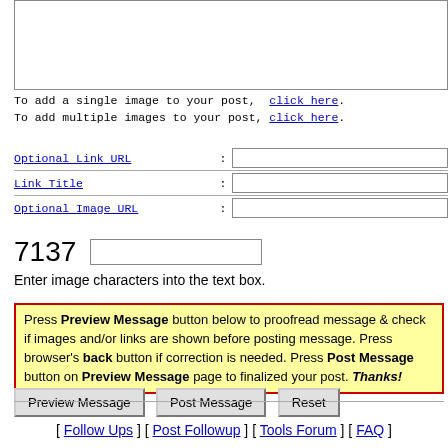[Figure (screenshot): Textarea input box at top of page]
To add a single image to your post,  click here.
To add multiple images to your post, click here.
Optional Link URL : [input]
Link Title : [input]
Optional Image URL: [input]
[Figure (screenshot): CAPTCHA showing number 7137 with text input box]
Enter image characters into the text box.
Press Preview Message button below to proofread message & check if images and/or links are shown before posting message. Press browser's back button if correction is needed. Press Post Message button on Preview Message page to finalized your post. Thanks!
Preview Message  Post Message  Reset
[ Follow Ups ] [ Post Followup ] [ Tools Forum ] [ FAQ ]